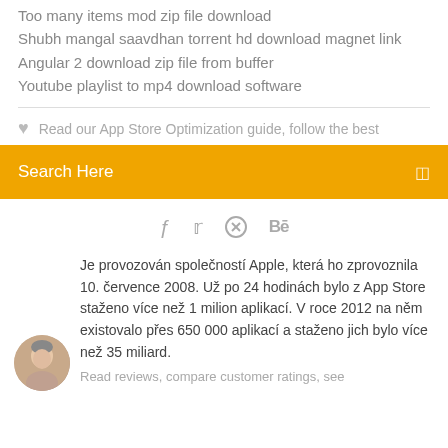Too many items mod zip file download
Shubh mangal saavdhan torrent hd download magnet link
Angular 2 download zip file from buffer
Youtube playlist to mp4 download software
♥  Read our App Store Optimization guide, follow the best
Search Here
f  𝕥  ⊛  Bē
Je provozován společností Apple, která ho zprovoznila 10. července 2008. Už po 24 hodinách bylo z App Store staženo více než 1 milion aplikací. V roce 2012 na něm existovalo přes 650 000 aplikací a staženo jich bylo více než 35 miliard.
Read reviews, compare customer ratings, see